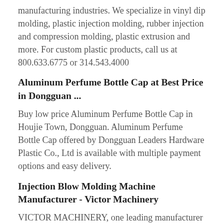manufacturing industries. We specialize in vinyl dip molding, plastic injection molding, rubber injection and compression molding, plastic extrusion and more. For custom plastic products, call us at 800.633.6775 or 314.543.4000
Aluminum Perfume Bottle Cap at Best Price in Dongguan ...
Buy low price Aluminum Perfume Bottle Cap in Houjie Town, Dongguan. Aluminum Perfume Bottle Cap offered by Dongguan Leaders Hardware Plastic Co., Ltd is available with multiple payment options and easy delivery.
Injection Blow Molding Machine Manufacturer - Victor Machinery
VICTOR MACHINERY, one leading manufacturer of injection blow molding machine and precision